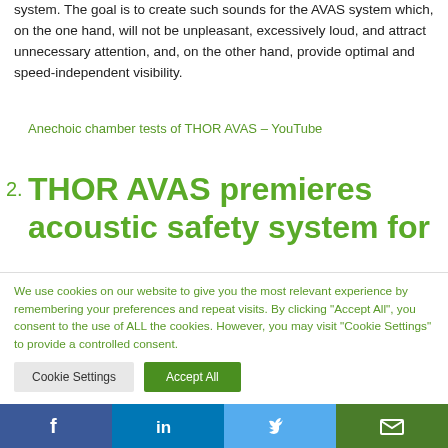system. The goal is to create such sounds for the AVAS system which, on the one hand, will not be unpleasant, excessively loud, and attract unnecessary attention, and, on the other hand, provide optimal and speed-independent visibility.
Anechoic chamber tests of THOR AVAS – YouTube
2. THOR AVAS premieres acoustic safety system for
We use cookies on our website to give you the most relevant experience by remembering your preferences and repeat visits. By clicking "Accept All", you consent to the use of ALL the cookies. However, you may visit "Cookie Settings" to provide a controlled consent.
Cookie Settings | Accept All
Facebook | LinkedIn | Twitter | Email